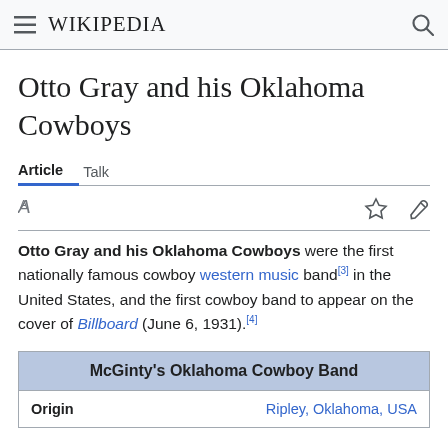Wikipedia
Otto Gray and his Oklahoma Cowboys
Article   Talk
Otto Gray and his Oklahoma Cowboys were the first nationally famous cowboy western music band[3] in the United States, and the first cowboy band to appear on the cover of Billboard (June 6, 1931).[4]
| McGinty's Oklahoma Cowboy Band |  |
| --- | --- |
| Origin | Ripley, Oklahoma, USA |